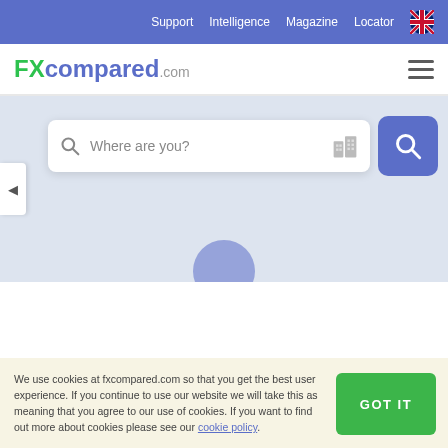Support  Intelligence  Magazine  Locator
FXcompared.com
[Figure (screenshot): A map-based locator interface with a search bar containing 'Where are you?' placeholder text, a building icon, and a blue search button. A left arrow navigation is visible on the left side. A partially visible blue circle appears at the bottom of the map area.]
We use cookies at fxcompared.com so that you get the best user experience. If you continue to use our website we will take this as meaning that you agree to our use of cookies. If you want to find out more about cookies please see our cookie policy.